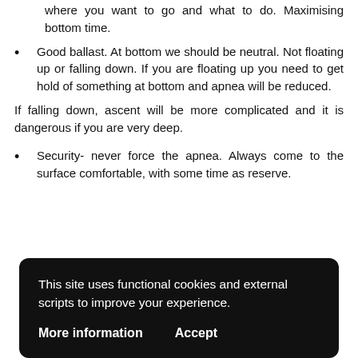where you want to go and what to do. Maximising bottom time.
Good ballast. At bottom we should be neutral. Not floating up or falling down. If you are floating up you need to get hold of something at bottom and apnea will be reduced.
If falling down, ascent will be more complicated and it is dangerous if you are very deep.
Security- never force the apnea. Always come to the surface comfortable, with some time as reserve.
This site uses functional cookies and external scripts to improve your experience.
More information    Accept